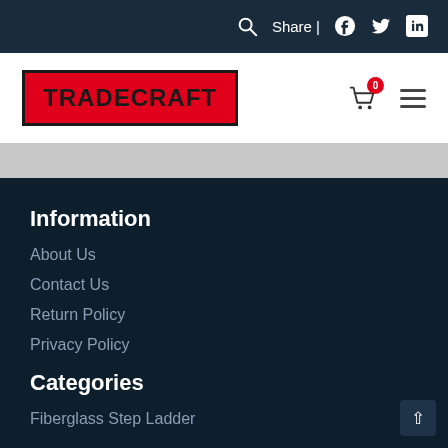Search | Share | Facebook | Twitter | LinkedIn
[Figure (logo): Tradecraft logo — red background with black border and bold black TRADECRAFT text]
Information
About Us
Contact Us
Return Policy
Privacy Policy
Categories
Fiberglass Step Ladder